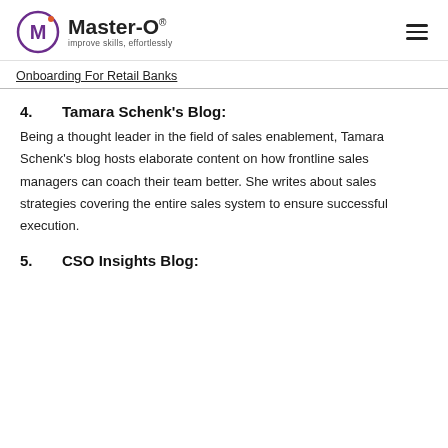[Figure (logo): Master-O logo with circular M icon and tagline 'improve skills, effortlessly']
Onboarding For Retail Banks
4.    Tamara Schenk's Blog:
Being a thought leader in the field of sales enablement, Tamara Schenk's blog hosts elaborate content on how frontline sales managers can coach their team better. She writes about sales strategies covering the entire sales system to ensure successful execution.
5.    CSO Insights Blog: